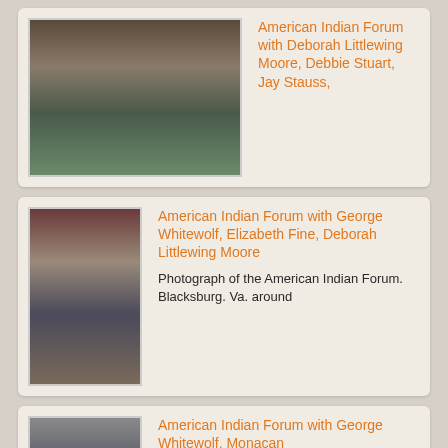[Figure (photo): Group photo at American Indian Forum with multiple people seated in a room]
American Indian Forum with Deborah Littlewing Moore, Debbie Stuart, Jay Stauss,
[Figure (photo): Photo of people seated at the American Indian Forum in Blacksburg, Va]
American Indian Forum with George Whitewolf, Elizabeth Fine, Deborah Littlewing Moore
Photograph of the American Indian Forum. Blacksburg. Va. around
[Figure (photo): Photo of George Whitewolf wearing a white cowboy hat at the American Indian Forum]
American Indian Forum with George Whitewolf, Monacan
Photograph of the American Indian Forum, Blacksburg, Va, around 2000 or 2001. From left to right: George